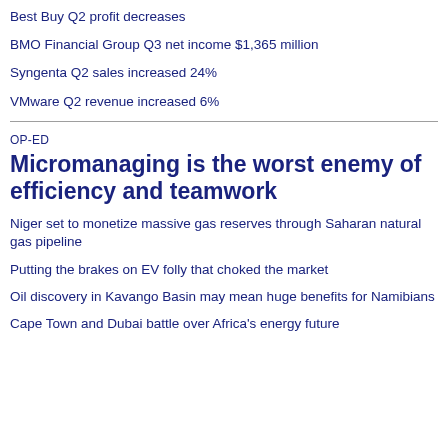Best Buy Q2 profit decreases
BMO Financial Group Q3 net income $1,365 million
Syngenta Q2 sales increased 24%
VMware Q2 revenue increased 6%
OP-ED
Micromanaging is the worst enemy of efficiency and teamwork
Niger set to monetize massive gas reserves through Saharan natural gas pipeline
Putting the brakes on EV folly that choked the market
Oil discovery in Kavango Basin may mean huge benefits for Namibians
Cape Town and Dubai battle over Africa's energy future